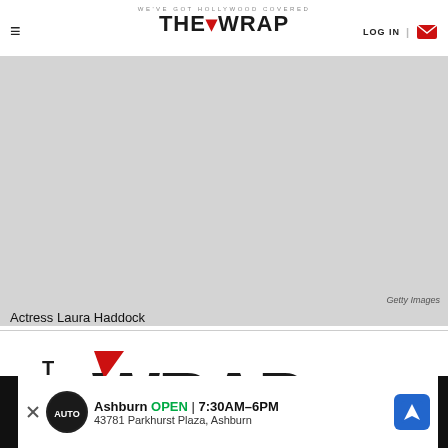WE'VE GOT HOLLYWOOD COVERED — THE WRAP | LOG IN
[Figure (photo): Photo of Actress Laura Haddock, image credited to Getty Images]
Actress Laura Haddock
[Figure (logo): The Wrap large logo with tagline Covering Hollywood]
[Figure (other): Advertisement banner: Ashburn OPEN 7:30AM-6PM, 43781 Parkhurst Plaza, Ashburn with auto service logo and navigation icon]